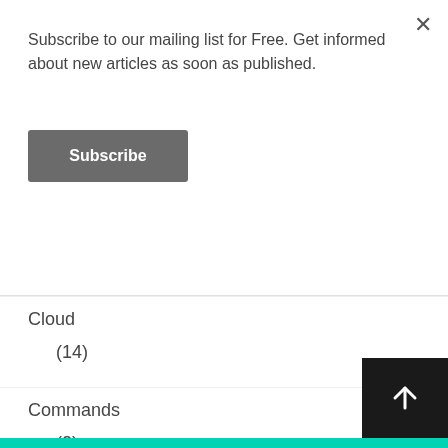Subscribe to our mailing list for Free. Get informed about new articles as soon as published.
Subscribe
Cisco Wireless (12)
Cloud (14)
Commands (2)
Cyberoam Firewall (4)
DevOps (2)
Docker (2)
Firewall (21)